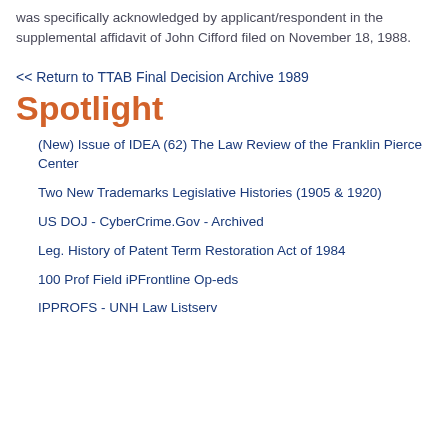was specifically acknowledged by applicant/respondent in the supplemental affidavit of John Cifford filed on November 18, 1988.
<< Return to TTAB Final Decision Archive 1989
Spotlight
(New) Issue of IDEA (62) The Law Review of the Franklin Pierce Center
Two New Trademarks Legislative Histories (1905 & 1920)
US DOJ - CyberCrime.Gov - Archived
Leg. History of Patent Term Restoration Act of 1984
100 Prof Field iPFrontline Op-eds
IPPROFS - UNH Law Listserv